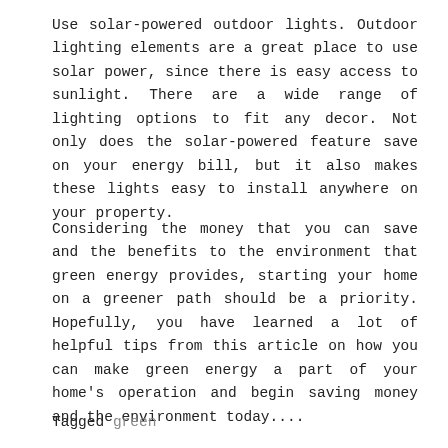Use solar-powered outdoor lights. Outdoor lighting elements are a great place to use solar power, since there is easy access to sunlight. There are a wide range of lighting options to fit any decor. Not only does the solar-powered feature save on your energy bill, but it also makes these lights easy to install anywhere on your property.
Considering the money that you can save and the benefits to the environment that green energy provides, starting your home on a greener path should be a priority. Hopefully, you have learned a lot of helpful tips from this article on how you can make green energy a part of your home's operation and begin saving money and the environment today....
Tagged green